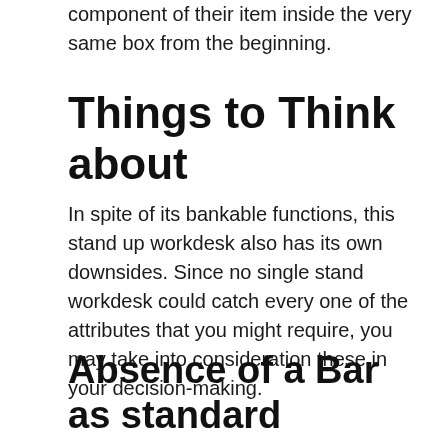component of their item inside the very same box from the beginning.
Things to Think about
In spite of its bankable functions, this stand up workdesk also has its own downsides. Since no single stand workdesk could catch every one of the attributes that you might require, you may take into consideration these in your decision-making.
Absence of a Bar as standard
Not having a supporting crossbar is absolutely not a deal-breaker, specifically